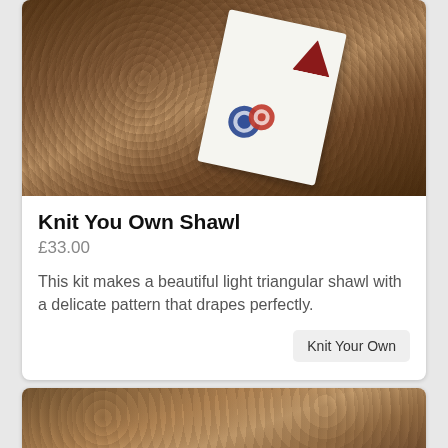[Figure (photo): A knitted brown/tan shawl or textile laid flat, with a small booklet/pattern card resting on top showing a triangular logo and decorative circular badges. Close-up product photography.]
Knit You Own Shawl
£33.00
This kit makes a beautiful light triangular shawl with a delicate pattern that drapes perfectly.
Knit Your Own
[Figure (photo): Partial view of a second product card showing a close-up of a brown/beige knitted wool fabric with textured surface detail.]